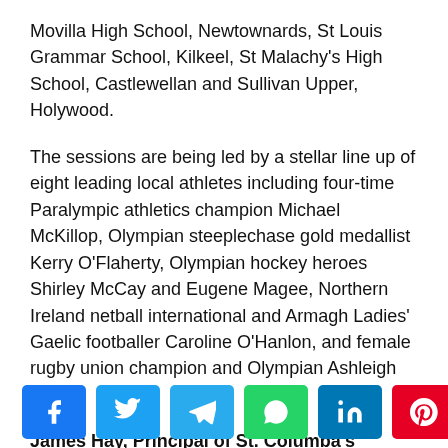Movilla High School, Newtownards, St Louis Grammar School, Kilkeel, St Malachy's High School, Castlewellan and Sullivan Upper, Holywood.
The sessions are being led by a stellar line up of eight leading local athletes including four-time Paralympic athletics champion Michael McKillop, Olympian steeplechase gold medallist Kerry O'Flaherty, Olympian hockey heroes Shirley McCay and Eugene Magee, Northern Ireland netball international and Armagh Ladies' Gaelic footballer Caroline O'Hanlon, and female rugby union champion and Olympian Ashleigh Baxter.
James Hay, Principal of St. Columba's College in Portaferry, said:
[Figure (infographic): Social media share buttons row: Facebook (blue), Twitter (light blue), Telegram (blue), WhatsApp (green), LinkedIn (dark blue), Pinterest (red), Email (cyan)]